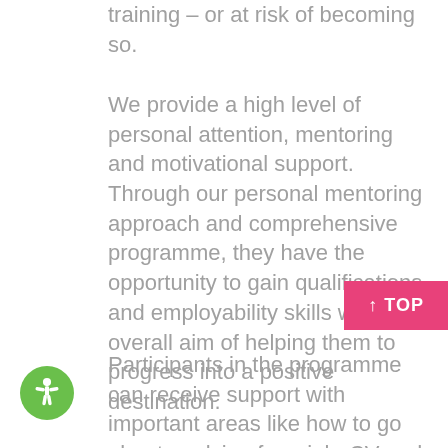training – or at risk of becoming so.
We provide a high level of personal attention, mentoring and motivational support. Through our personal mentoring approach and comprehensive programme, they have the opportunity to gain qualifications and employability skills with the overall aim of helping them to progress into a positive destination.
Participants in the programme can receive support with important areas like how to go about applying for a job, CV and cover-letter writing and perfecting their interview skills as well as help with